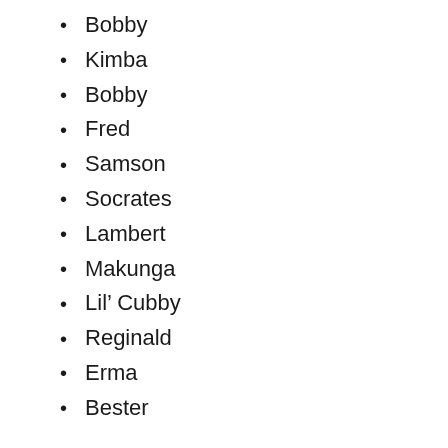Bobby
Kimba
Bobby
Fred
Samson
Socrates
Lambert
Makunga
Lil’ Cubby
Reginald
Erma
Bester